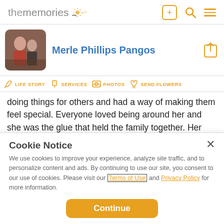[Figure (logo): thememories logo with sun icon]
[Figure (photo): Photo of couple, older man and woman, profile picture for Merle Phillips Pangos]
Merle Phillips Pangos
LIFE STORY
SERVICES
PHOTOS
SEND FLOWERS
doing things for others and had a way of making them feel special. Everyone loved being around her and she was the glue that held the family together. Her greatest attribute
Cookie Notice
We use cookies to improve your experience, analyze site traffic, and to personalize content and ads. By continuing to use our site, you consent to our use of cookies. Please visit our Terms of Use and Privacy Policy for more information.
Continue